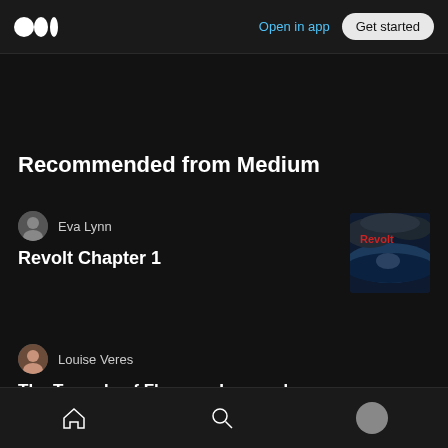Open in app | Get started
Recommended from Medium
Eva Lynn
Revolt Chapter 1
[Figure (illustration): Book/album cover for Revolt Chapter 1 showing a dramatic stormy ocean scene with a person, dark clouds, red title text 'Revolt']
Louise Veres
The Tragedy of Florence Lassandro
Paroma Sen
[Figure (illustration): Partial blue-toned thumbnail image, partially visible at bottom right]
Home | Search | Profile